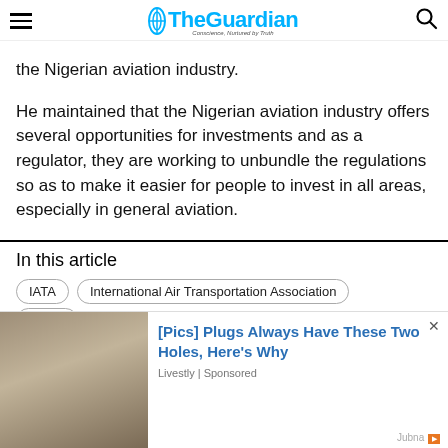The Guardian
the Nigerian aviation industry.
He maintained that the Nigerian aviation industry offers several opportunities for investments and as a regulator, they are working to unbundle the regulations so as to make it easier for people to invest in all areas, especially in general aviation.
In this article
IATA
International Air Transportation Association
NCAA
[Figure (photo): Advertisement overlay: [Pics] Plugs Always Have These Two Holes, Here's Why — Livestly | Sponsored, with photo of metal object on left]